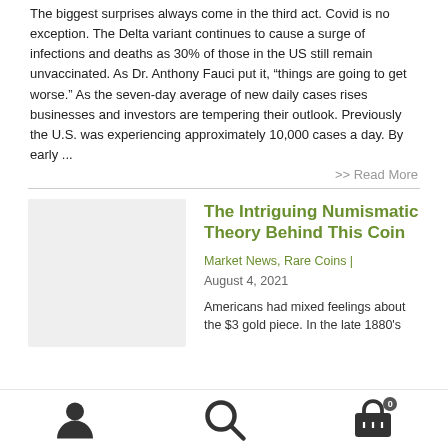The biggest surprises always come in the third act. Covid is no exception. The Delta variant continues to cause a surge of infections and deaths as 30% of those in the US still remain unvaccinated. As Dr. Anthony Fauci put it, “things are going to get worse.” As the seven-day average of new daily cases rises businesses and investors are tempering their outlook. Previously the U.S. was experiencing approximately 10,000 cases a day. By early ...
>> Read More
[Figure (photo): Thumbnail image placeholder (light gray box) for the article]
The Intriguing Numismatic Theory Behind This Coin
Market News, Rare Coins |
August 4, 2021
Americans had mixed feelings about the $3 gold piece. In the late 1880's
user | search | cart (0)